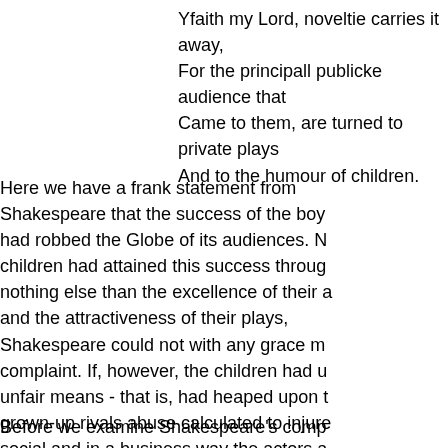Yfaith my Lord, noveltie carries it away,
For the principall publicke audience that
Came to them, are turned to private plays
And to the humour of children.
Here we have a frank statement from Shakespeare that the success of the boy had robbed the Globe of its audiences. No children had attained this success through nothing else than the excellence of their and the attractiveness of their plays, Shakespeare could not with any grace m complaint. If, however, the children had u unfair means - that is, had heaped upon grown-up rivals abuse calculated to injure social and in a business way the actors a Globe - then Shakespeare had a perfect complain. He does complain; and though so good-naturedly he states his complain
Before we examine Shakespeare's comp